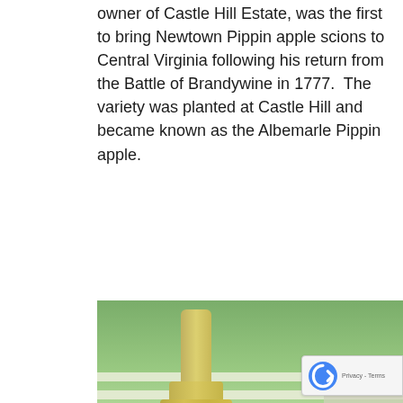owner of Castle Hill Estate, was the first to bring Newtown Pippin apple scions to Central Virginia following his return from the Battle of Brandywine in 1777.  The variety was planted at Castle Hill and became known as the Albemarle Pippin apple.
[Figure (photo): A bottle of Castle Hill Cider (Terrestrial) with a red circular label, next to a glass of golden cider, on an outdoor table with green landscape in background.]
And as most Virginia cider lovers know, the Albemarle Pippin is still one of the signature Virginia apple varieties and was even exported to England throughout the 1800s.  Castle Hill Cider was founded